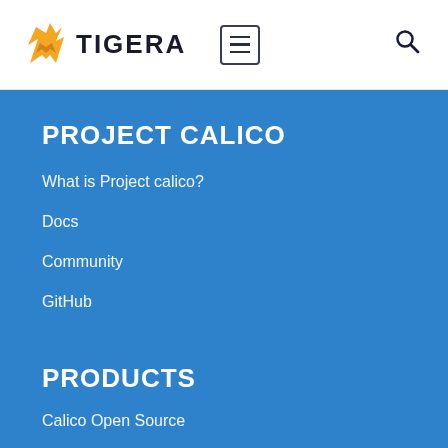[Figure (logo): Tigera logo with orange tiger head icon and bold dark text TIGERA, plus hamburger menu icon and search icon]
PROJECT CALICO
What is Project calico?
Docs
Community
GitHub
PRODUCTS
Calico Open Source